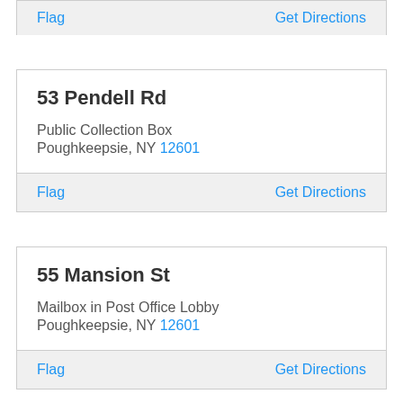Flag
Get Directions
53 Pendell Rd
Public Collection Box
Poughkeepsie, NY 12601
Flag
Get Directions
55 Mansion St
Mailbox in Post Office Lobby
Poughkeepsie, NY 12601
Flag
Get Directions